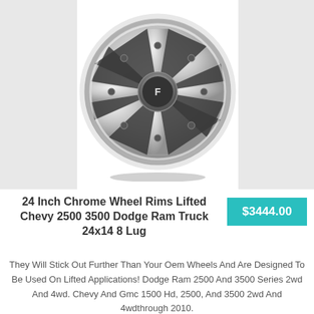[Figure (photo): A large chrome truck wheel/rim (Fuel brand) shown against a white background, flanked by light gray panels on left and right sides.]
24 Inch Chrome Wheel Rims Lifted Chevy 2500 3500 Dodge Ram Truck 24x14 8 Lug
$3444.00
They Will Stick Out Further Than Your Oem Wheels And Are Designed To Be Used On Lifted Applications! Dodge Ram 2500 And 3500 Series 2wd And 4wd. Chevy And Gmc 1500 Hd, 2500, And 3500 2wd And 4wdthrough 2010.